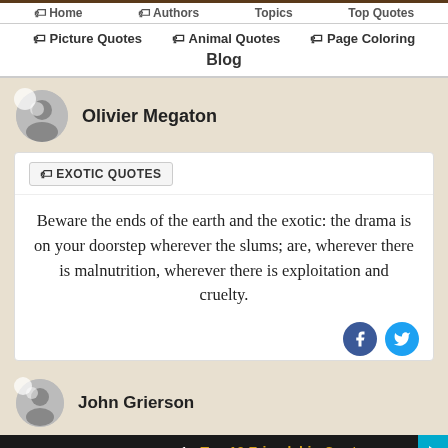Home | Authors | Topics | Top Quotes | Picture Quotes | Animal Quotes | Page Coloring | Blog
Olivier Megaton
EXOTIC QUOTES
Beware the ends of the earth and the exotic: the drama is on your doorstep wherever the slums; are, wherever there is malnutrition, wherever there is exploitation and cruelty.
John Grierson
1. Top 10 Friendship Quotes
2. Daily Inspirational Quotes
Search for